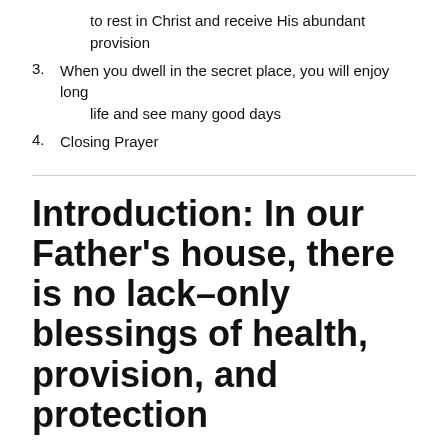to rest in Christ and receive His abundant provision
3. When you dwell in the secret place, you will enjoy long life and see many good days
4. Closing Prayer
Introduction: In our Father's house, there is no lack–only blessings of health, provision, and protection
As the world grows increasingly worried about the COVID-